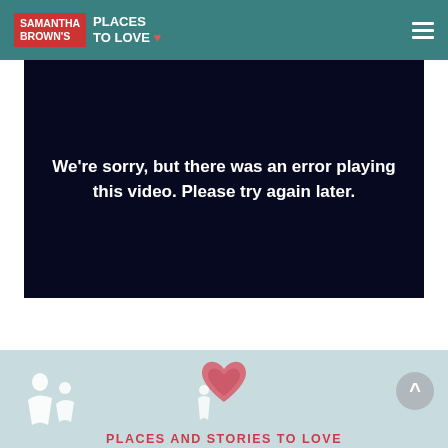SAMANTHA BROWN'S PLACES TO LOVE
[Figure (screenshot): Video player error screen with dark navy background displaying error message in white bold text]
We're sorry, but there was an error playing this video. Please try again later.
[Figure (illustration): Light blue footer section with pink heart icon, white figure silhouettes, back-to-top button, and 'PLACES AND STORIES TO LOVE' text in pink]
PLACES AND STORIES TO LOVE